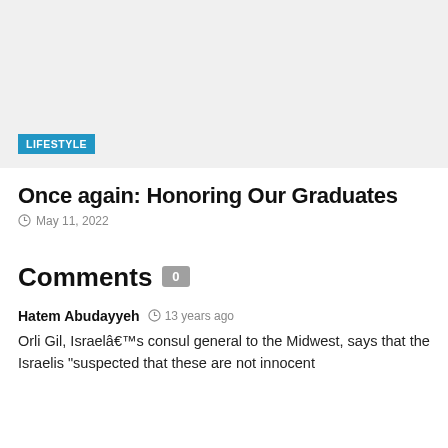[Figure (photo): Light gray image placeholder with a 'LIFESTYLE' category tag badge in blue at the bottom left]
Once again: Honoring Our Graduates
May 11, 2022
Comments 0
Hatem Abudayyeh  13 years ago
Orli Gil, Israelâ€™s consul general to the Midwest, says that the Israelis “suspected that these are not innocent